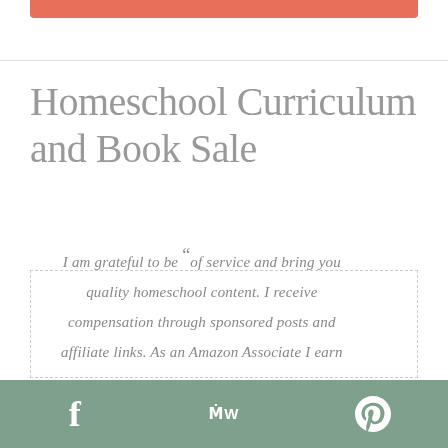Homeschool Curriculum and Book Sale
I am grateful to be “of service and bring you quality homeschool content. I receive compensation through sponsored posts and affiliate links. As an Amazon Associate I earn
f  MW  📌